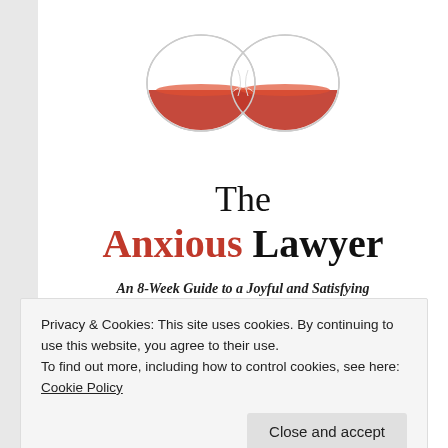[Figure (illustration): Infinity-shaped hourglass with two bulbs lying on their sides, filled with orange/red sand, with a narrow crossing point in the middle.]
The Anxious Lawyer
An 8-Week Guide to a Joyful and Satisfying Law Practice Through Mindfulness and Meditation
Privacy & Cookies: This site uses cookies. By continuing to use this website, you agree to their use.
To find out more, including how to control cookies, see here: Cookie Policy
Close and accept